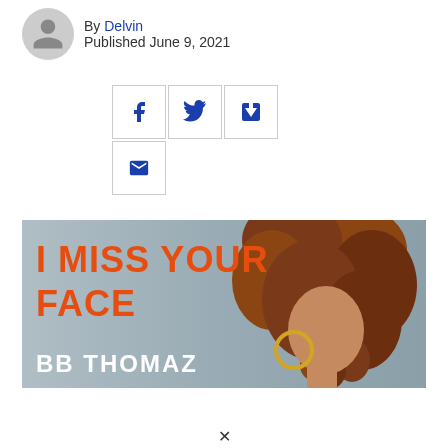By Delvin
Published June 9, 2021
[Figure (illustration): Social sharing buttons: Facebook, Twitter, Flipboard, and Email icons in bordered square buttons]
[Figure (illustration): Music single cover art for 'I Miss Your Face' by BB Thomaz. Orange bold text 'I MISS YOUR FACE' on left, 'BB THOMAZ' in white at bottom left. Background shows a woman with curly auburn hair on a grey background.]